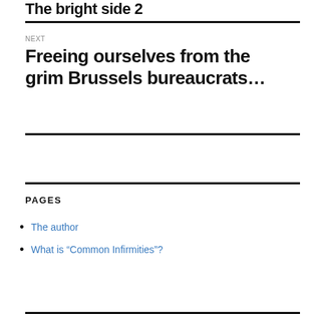The bright side 2
NEXT
Freeing ourselves from the grim Brussels bureaucrats…
PAGES
The author
What is “Common Infirmities”?